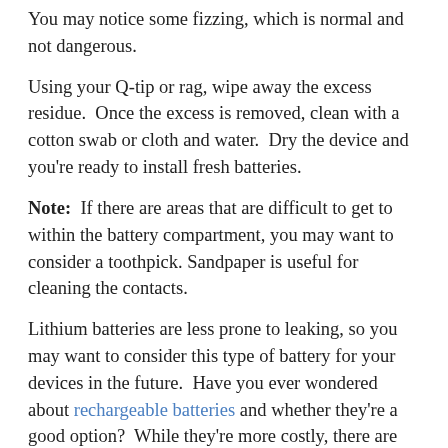You may notice some fizzing, which is normal and not dangerous.
Using your Q-tip or rag, wipe away the excess residue.  Once the excess is removed, clean with a cotton swab or cloth and water.  Dry the device and you're ready to install fresh batteries.
Note:  If there are areas that are difficult to get to within the battery compartment, you may want to consider a toothpick. Sandpaper is useful for cleaning the contacts.
Lithium batteries are less prone to leaking, so you may want to consider this type of battery for your devices in the future.  Have you ever wondered about rechargeable batteries and whether they're a good option?  While they're more costly, there are situations in which the extra cost may be worth it.  You'll find this information helpful!
Cleaning a battery leak isn't hard at all, it's more of